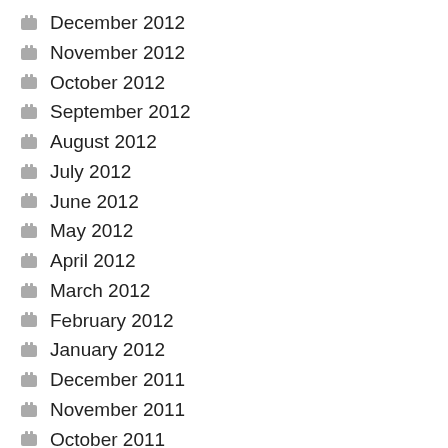December 2012
November 2012
October 2012
September 2012
August 2012
July 2012
June 2012
May 2012
April 2012
March 2012
February 2012
January 2012
December 2011
November 2011
October 2011
September 2011
August 2011
July 2011